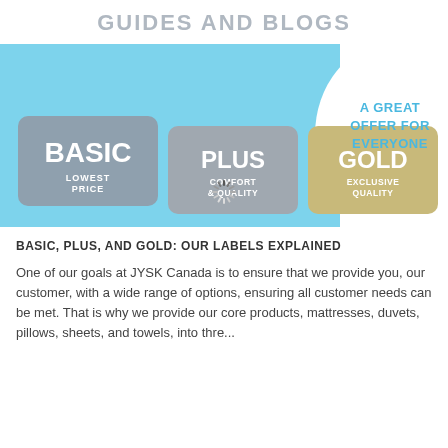GUIDES AND BLOGS
[Figure (infographic): Infographic on a light blue background showing three product tier badges: BASIC (LOWEST PRICE), PLUS (COMFORT & QUALITY), GOLD (EXCLUSIVE QUALITY), with a speech bubble on the right reading 'A GREAT OFFER FOR EVERYONE', and a loading spinner in the center-bottom area.]
BASIC, PLUS, AND GOLD: OUR LABELS EXPLAINED
One of our goals at JYSK Canada is to ensure that we provide you, our customer, with a wide range of options, ensuring all customer needs can be met. That is why we provide our core products, mattresses, duvets, pillows, sheets, and towels, into thre...